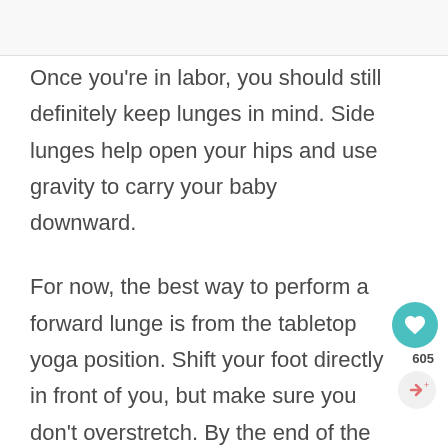Once you're in labor, you should still definitely keep lunges in mind. Side lunges help open your hips and use gravity to carry your baby downward.
For now, the best way to perform a forward lunge is from the tabletop yoga position. Shift your foot directly in front of you, but make sure you don't overstretch. By the end of the movement, your knee should be parallel to your ankle.